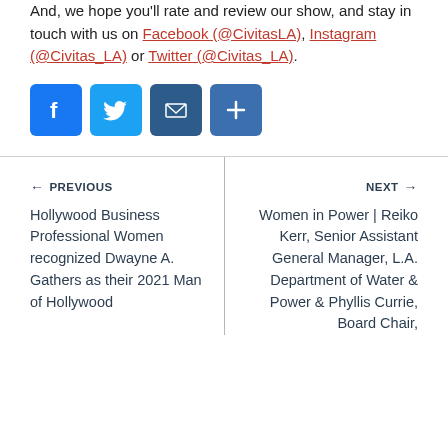And, we hope you'll rate and review our show, and stay in touch with us on Facebook (@CivitasLA), Instagram (@Civitas_LA) or Twitter (@Civitas_LA).
[Figure (other): Social media icon buttons: Facebook (blue square with f), Twitter (light blue square with bird), Email (dark blue square with envelope), Share (blue square with plus sign)]
← PREVIOUS
Hollywood Business Professional Women recognized Dwayne A. Gathers as their 2021 Man of Hollywood
NEXT →
Women in Power | Reiko Kerr, Senior Assistant General Manager, L.A. Department of Water & Power & Phyllis Currie, Board Chair,